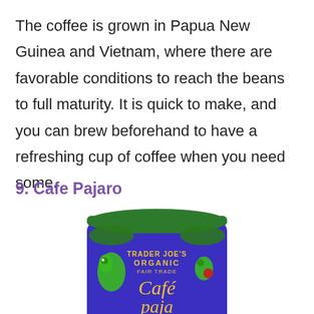The coffee is grown in Papua New Guinea and Vietnam, where there are favorable conditions to reach the beans to full maturity. It is quick to make, and you can brew beforehand to have a refreshing cup of coffee when you need some.
9. Cafe Pajaro
[Figure (photo): A Trader Joe's Organic Fair Trade Café Pajaro coffee can with a green lid and blue label featuring tropical birds and plants, with text reading TRADER JOE'S ORGANIC FAIR TRADE Café Pajaro]